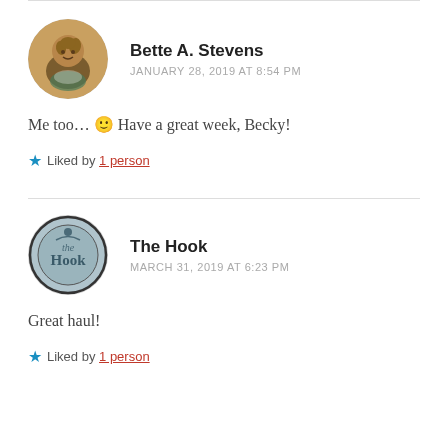Bette A. Stevens
JANUARY 28, 2019 AT 8:54 PM
Me too… 🙂 Have a great week, Becky!
Liked by 1 person
The Hook
MARCH 31, 2019 AT 6:23 PM
Great haul!
Liked by 1 person